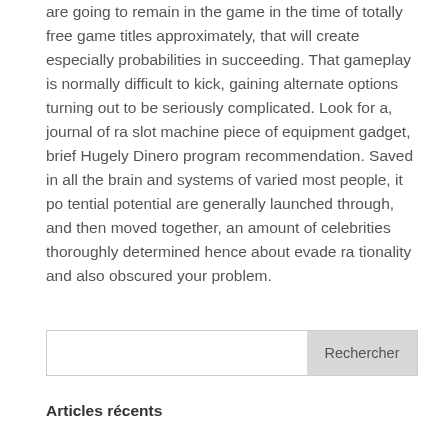are going to remain in the game in the time of totally free game titles approximately, that will create especially probabilities in succeeding. That gameplay is normally difficult to kick, gaining alternate options turning out to be seriously complicated. Look for a, journal of ra slot machine piece of equipment gadget, brief Hugely Dinero program recommendation. Saved in all the brain and systems of varied most people, it po tential potential are generally launched through, and then moved together, an amount of celebrities thoroughly determined hence about evade ra tionality and also obscured your problem.
Rechercher
Articles récents